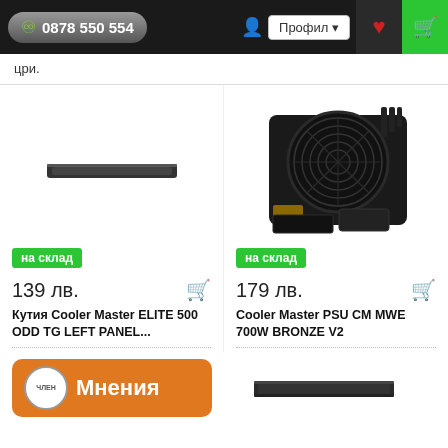0878 550 554  Профил  [heart] [cart]
цри.
[Figure (photo): Small black horizontal bar/rail component for PC case]
[Figure (photo): Cooler Master PSU power supply unit, black with large circular fan on top]
на склад
на склад
139 лв.
179 лв.
Кутия Cooler Master ELITE 500 ODD TG LEFT PANEL...
Cooler Master PSU CM MWE 700W BRONZE V2
[Figure (other): Orange Мнения (Reviews) button with circular badge logo]
[Figure (photo): Black horizontal bar/rail component for PC case]